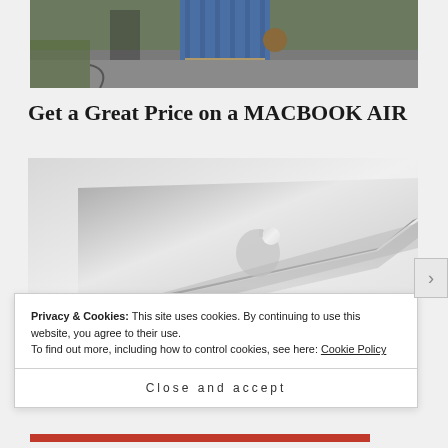[Figure (photo): Partial photograph of a person standing outdoors on a street, wearing a blue striped shirt and khaki pants, cropped at the torso level]
Get a Great Price on a MACBOOK AIR
[Figure (photo): MacBook Air laptop shown partially open at an angle, silver aluminum body with Apple logo visible, on a light gray background]
Privacy & Cookies: This site uses cookies. By continuing to use this website, you agree to their use.
To find out more, including how to control cookies, see here: Cookie Policy
Close and accept